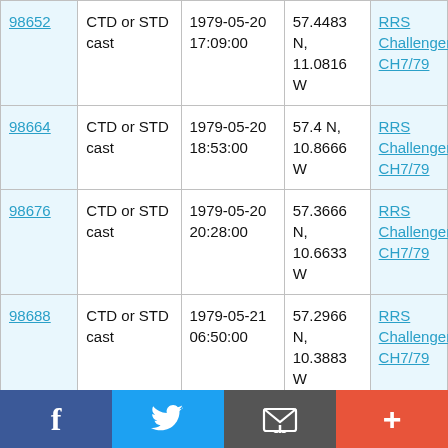| 98652 | CTD or STD cast | 1979-05-20 17:09:00 | 57.4483 N, 11.0816 W | RRS Challenger CH7/79 |
| 98664 | CTD or STD cast | 1979-05-20 18:53:00 | 57.4 N, 10.8666 W | RRS Challenger CH7/79 |
| 98676 | CTD or STD cast | 1979-05-20 20:28:00 | 57.3666 N, 10.6633 W | RRS Challenger CH7/79 |
| 98688 | CTD or STD cast | 1979-05-21 06:50:00 | 57.2966 N, 10.3883 W | RRS Challenger CH7/79 |
Social sharing bar: Facebook, Twitter, Email, More